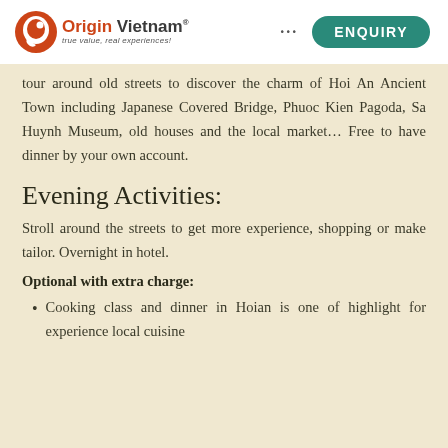Origin Vietnam — true value, real experiences! ENQUIRY
tour around old streets to discover the charm of Hoi An Ancient Town including Japanese Covered Bridge, Phuoc Kien Pagoda, Sa Huynh Museum, old houses and the local market… Free to have dinner by your own account.
Evening Activities:
Stroll around the streets to get more experience, shopping or make tailor. Overnight in hotel.
Optional with extra charge:
Cooking class and dinner in Hoian is one of highlight for experience local cuisine